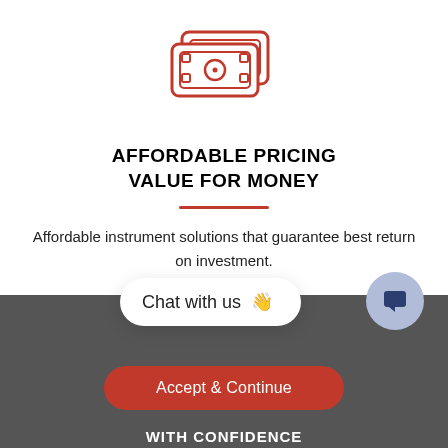[Figure (illustration): Red outline icon of stacked money bills/cash notes]
AFFORDABLE PRICING VALUE FOR MONEY
Affordable instrument solutions that guarantee best return on investment.
[Figure (illustration): Chat with us bubble widget with waving hand emoji and chat bubble icon on blue circle]
[Figure (logo): Dark red diamond/gem logo watermark overlay]
We use cookies for a number of reasons, such as keeping our site reliable and secure, personalising content, providing social media, and to analyze how our site is used. To find out more, read our updated privacy policy and cookie policy.
Accept & Continue
WITH CONFIDENCE